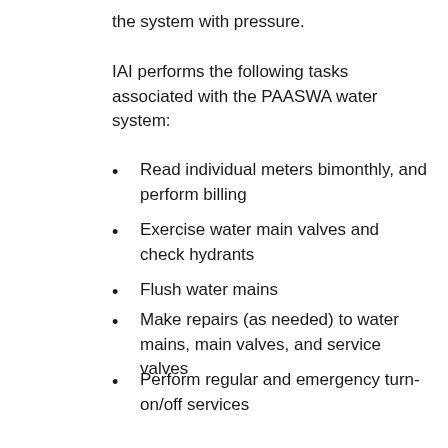the system with pressure.
IAI performs the following tasks associated with the PAASWA water system:
Read individual meters bimonthly, and perform billing
Exercise water main valves and check hydrants
Flush water mains
Make repairs (as needed) to water mains, main valves, and service valves
Perform regular and emergency turn-on/off services
Collect required water samples
Check chlorine residual
Prepare monthly and annual operations